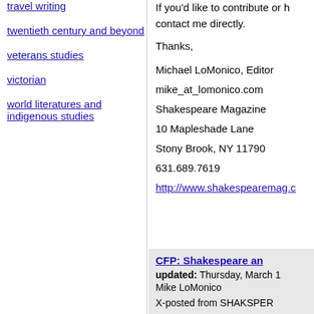travel writing
twentieth century and beyond
veterans studies
victorian
world literatures and indigenous studies
If you'd like to contribute or h contact me directly.
Thanks,
Michael LoMonico, Editor
mike_at_lomonico.com
Shakespeare Magazine
10 Mapleshade Lane
Stony Brook, NY 11790
631.689.7619
http://www.shakespearemag.c
CFP: Shakespeare an
updated: Thursday, March 1
Mike LoMonico
X-posted from SHAKSPER